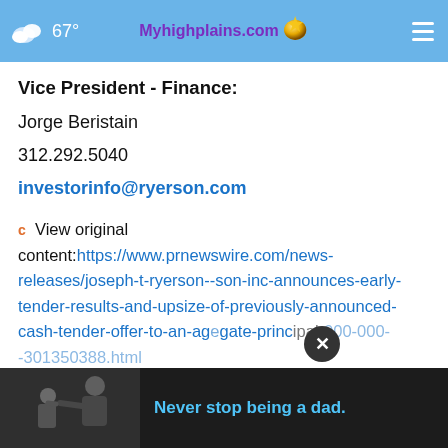67° Myhighplains.com
Vice President - Finance:
Jorge Beristain
312.292.5040
investorinfo@ryerson.com
View original content:https://www.prnewswire.com/news-releases/joseph-t-ryerson--son-inc-announces-early-tender-results-and-upsize-of-previously-announced-cash-tender-offer-to-an-aggregate-principal-000-000--301350388.html
[Figure (photo): Advertisement banner showing a father and child with text 'Never stop being a dad.']